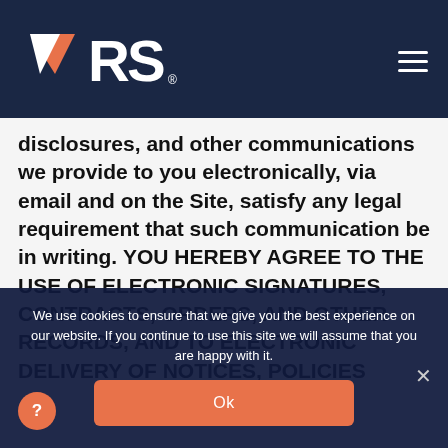[Figure (logo): VRS logo in white and orange on dark navy background, with hamburger menu icon on the right]
disclosures, and other communications we provide to you electronically, via email and on the Site, satisfy any legal requirement that such communication be in writing. YOU HEREBY AGREE TO THE USE OF ELECTRONIC SIGNATURES, CONTRACTS, ORDERS, AND OTHER RECORDS, AND TO ELECTRONIC DELIVERY OF NOTICES, POLICIES
We use cookies to ensure that we give you the best experience on our website. If you continue to use this site we will assume that you are happy with it.
Ok